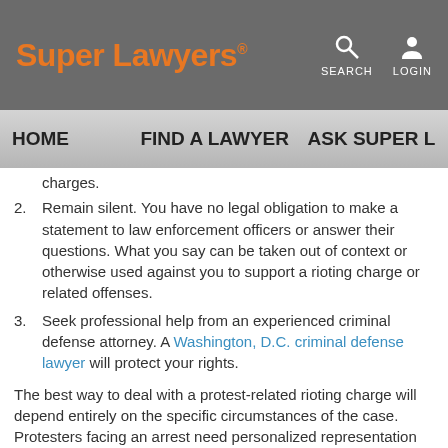Super Lawyers · SEARCH · LOGIN
HOME   FIND A LAWYER   ASK SUPER L...
charges.
2. Remain silent. You have no legal obligation to make a statement to law enforcement officers or answer their questions. What you say can be taken out of context or otherwise used against you to support a rioting charge or related offenses.
3. Seek professional help from an experienced criminal defense attorney. A Washington, D.C. criminal defense lawyer will protect your rights.
The best way to deal with a protest-related rioting charge will depend entirely on the specific circumstances of the case. Protesters facing an arrest need personalized representation and support. An aggressive legal defense is required when